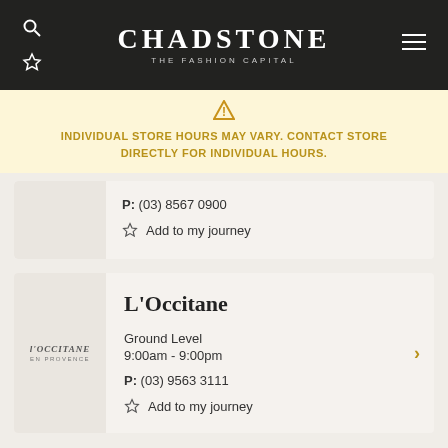CHADSTONE THE FASHION CAPITAL
INDIVIDUAL STORE HOURS MAY VARY. CONTACT STORE DIRECTLY FOR INDIVIDUAL HOURS.
P: (03) 8567 0900
Add to my journey
L'Occitane
Ground Level
9:00am - 9:00pm
P: (03) 9563 3111
Add to my journey